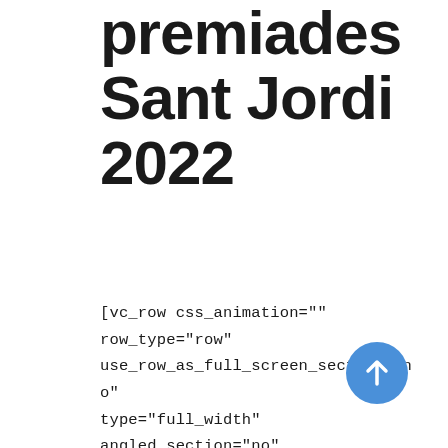premiades Sant Jordi 2022
[vc_row css_animation="" row_type="row" use_row_as_full_screen_section="no" type="full_width" angled_section="no" text_align="left" background_image_as_pattern="without_pattern" [vc_column][vc_column_text] [/vc_column_text][vc_empty_space] [/vc_column][/vc_row][vc_row css_animation="" row_type="row" use_row_as_full_screen_section="no" type="full_width"